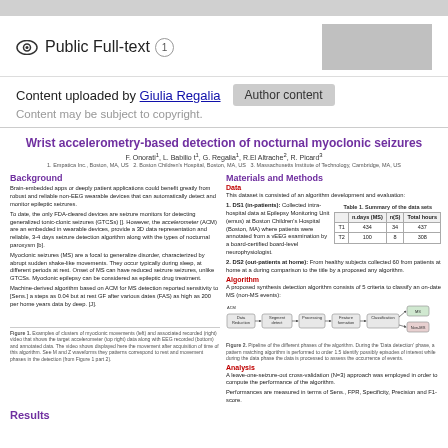Public Full-text 1
Content uploaded by Giulia Regalia
Author content
Content may be subject to copyright.
Wrist accelerometry-based detection of nocturnal myoclonic seizures
F. Onorati, L. Babilio t, G. Regalia, R.El Altrache, R. Picard
1. Empatica Inc., Boston, MA, US 2. Boston Children's Hospital, Boston, MA, US 3. Massachusetts Institute of Technology, Cambridge, MA, US
Background
Brain-embedded apps or deeply patient applications could benefit greatly from robust and reliable non-EEG wearable devices that can automatically detect and monitor epileptic seizures.
To date, the only FDA-cleared devices are seizure monitors for detecting generalized tonic-clonic seizures (GTCSs) []. However, the accelerometer (ACM) are an embedded in wearable devices, provide a 3D data representation and reliable, 3-4 days seizure detection algorithm along with the types of nocturnal paroxysm [b].
Myoclonic seizures (MS) are a focal to generalize disorder, characterized by abrupt sudden shake-like movements. They occur typically during sleep, at different periods at rest. Onset of MS can have reduced seizure seizures, unlike GTCSs. Myoclonic epilepsy can be considered as epileptic drug treatment.
Machine-derived algorithm based on ACM for MS detection reported sensitivity to [Sens.] a steps as 0.04 but at rest GF after various dates (FAS) as high as 200 per home years data by deep. [J].
Materials and Methods
Data
This dataset is consisted of an algorithm development and evaluation:
DS1 (in-patients): Collected intra-hospital data at Epilepsy Monitoring Unit (emus) at Boston Children's Hospital (Boston, MA) where patients were annotated from a vEEG examination by a board-certified board-level neurophysiologist.
|  | n.days(MS) | n(S) | Total hours |
| --- | --- | --- | --- |
| T1 | 434 | 34 | 437 |
| T2 | 100 | 8 | 308 |
DS2 (out-patients at home): From healthy subjects collected 60 from patients at home at a during comparison to the title by a proposed any algorithm.
Algorithm
A proposed synthesis detection algorithm consists of 5 criteria to classify an on-date MS (non-MS events):
[Figure (flowchart): Algorithm flowchart showing ACM -> Data Reduction -> Segment detect -> Processing -> Feature formation -> Classification -> MS/Non-MS]
Figure 2. Pipeline of the different phases of the algorithm. During the 'Data detection' phase, a pattern matching algorithm is performed to order 1.5 identify possibly episodes of interest while during the data phase the data is processed to assess the occurrence of events.
Analysis
A leave-one-seizure-out cross-validation (N=3) approach was employed in order to compute the performance of the algorithm.
Performances are measured in terms of Sens., FPR, Specificity, Precision and F1-score.
Figure 1. Examples of clusters of myoclonic movements (left) and associated recorded (right) video that shows the target accelerometer (top right) data along with EEG recorded (bottom) and annotated data. The video shows displayed here the movement after acquisition of time of this algorithm. See M and Z waveforms they patterns correspond to rest and movement phases in the detection (from Figure 1 part 2).
Results